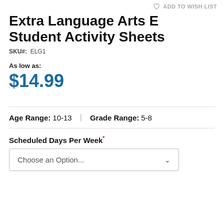ADD TO WISH LIST
Extra Language Arts E Student Activity Sheets
SKU#:  ELG1
As low as:
$14.99
Age Range:  10-13  |  Grade Range:  5-8
Scheduled Days Per Week*
Choose an Option...